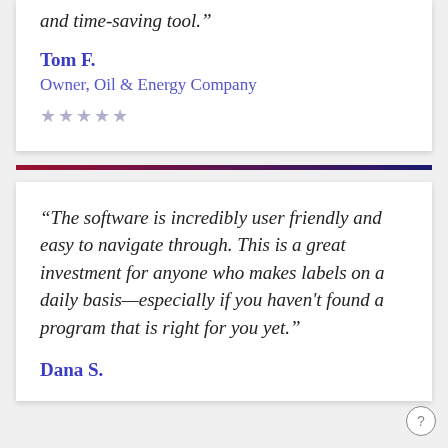and time-saving tool.”
Tom F.
Owner, Oil & Energy Company
★★★★★
“The software is incredibly user friendly and easy to navigate through. This is a great investment for anyone who makes labels on a daily basis—especially if you haven't found a program that is right for you yet.”
Dana S.